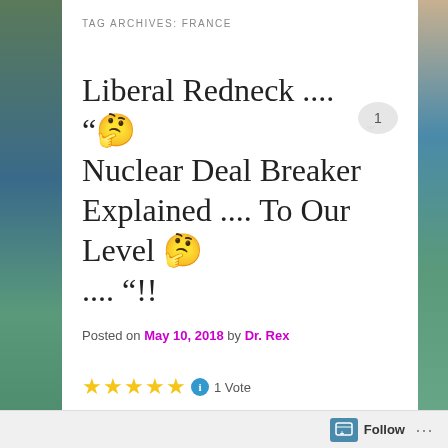TAG ARCHIVES: FRANCE
Liberal Redneck .... “🤔 Nuclear Deal Breaker Explained .... To Our Level 🤔 .... “!!
Posted on May 10, 2018 by Dr. Rex
★★★★★ ℹ 1 Vote
[Figure (photo): Video thumbnail showing a bearded man in a baseball cap with trees in background, gesturing with hands]